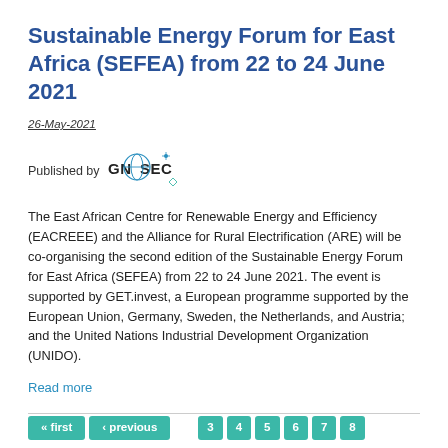Sustainable Energy Forum for East Africa (SEFEA) from 22 to 24 June 2021
26-May-2021
Published by GN-SEC
The East African Centre for Renewable Energy and Efficiency (EACREEE) and the Alliance for Rural Electrification (ARE) will be co-organising the second edition of the Sustainable Energy Forum for East Africa (SEFEA) from 22 to 24 June 2021. The event is supported by GET.invest, a European programme supported by the European Union, Germany, Sweden, the Netherlands, and Austria; and the United Nations Industrial Development Organization (UNIDO).
Read more
« first  ‹ previous  3  4  5  6  7  8